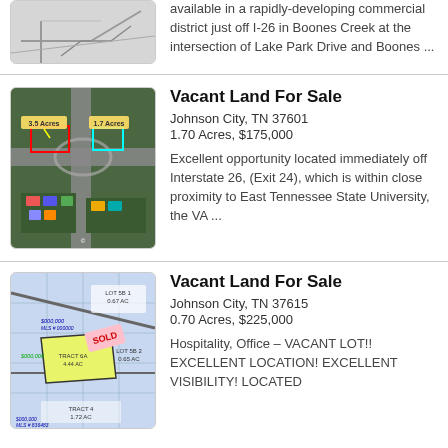[Figure (map): Partial aerial/site map of commercial property near Boones Creek, top of page cropped]
available in a rapidly-developing commercial district just off I-26 in Boones Creek at the intersection of Lake Park Drive and Boones ...
[Figure (map): Aerial satellite map showing vacant land parcels near Interstate 26 with colored outlines marking 3.5 Acres and 1.7 Acres parcels]
Vacant Land For Sale
Johnson City, TN 37601
1.70 Acres, $175,000
Excellent opportunity located immediately off Interstate 26, (Exit 24), which is within close proximity to East Tennessee State University, the VA ...
[Figure (map): Blueprint/plat map showing land tracts with lot numbers, acreages, prices and SOLD notation, highlighted yellow parcel]
Vacant Land For Sale
Johnson City, TN 37615
0.70 Acres, $225,000
Hospitality, Office – VACANT LOT!! EXCELLENT LOCATION! EXCELLENT VISIBILITY! LOCATED